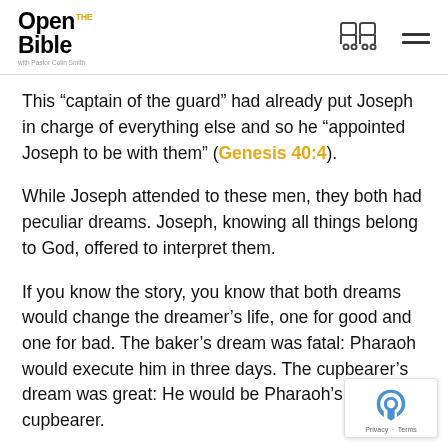Open the Bible with Pastor Colin Smith
This “captain of the guard” had already put Joseph in charge of everything else and so he “appointed Joseph to be with them” (Genesis 40:4).
While Joseph attended to these men, they both had peculiar dreams. Joseph, knowing all things belong to God, offered to interpret them.
If you know the story, you know that both dreams would change the dreamer’s life, one for good and one for bad. The baker’s dream was fatal: Pharaoh would execute him in three days. The cupbearer’s dream was great: He would be Pharaoh’s personal cupbearer.